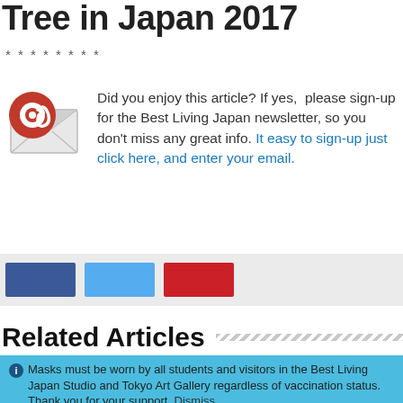Tree in Japan 2017
********
Did you enjoy this article? If yes, please sign-up for the Best Living Japan newsletter, so you don't miss any great info. It easy to sign-up just click here, and enter your email.
[Figure (infographic): Social share buttons: Facebook (blue), Twitter (light blue), Pinterest (red)]
Related Articles
ℹ Masks must be worn by all students and visitors in the Best Living Japan Studio and Tokyo Art Gallery regardless of vaccination status. Thank you for your support. Dismiss